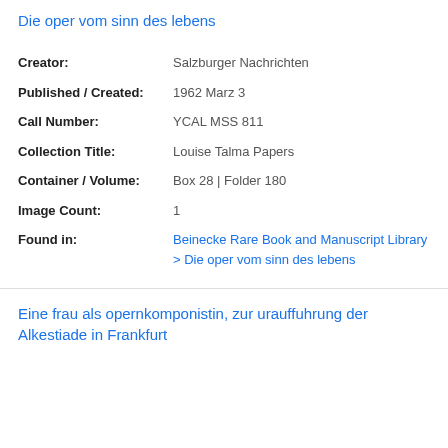Die oper vom sinn des lebens
| Creator: | Salzburger Nachrichten |
| Published / Created: | 1962 Marz 3 |
| Call Number: | YCAL MSS 811 |
| Collection Title: | Louise Talma Papers |
| Container / Volume: | Box 28 | Folder 180 |
| Image Count: | 1 |
| Found in: | Beinecke Rare Book and Manuscript Library > Die oper vom sinn des lebens |
Eine frau als opernkomponistin, zur urauffuhrung der Alkestiade in Frankfurt